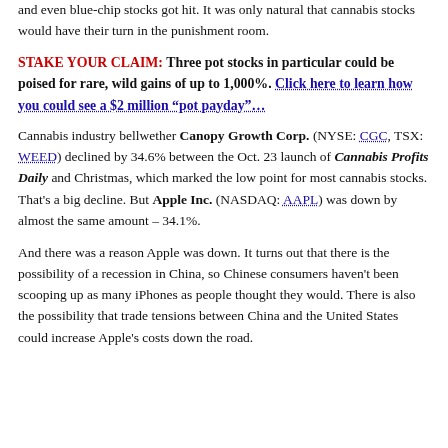and even blue-chip stocks got hit. It was only natural that cannabis stocks would have their turn in the punishment room.
STAKE YOUR CLAIM: Three pot stocks in particular could be poised for rare, wild gains of up to 1,000%. Click here to learn how you could see a $2 million “pot payday”…
Cannabis industry bellwether Canopy Growth Corp. (NYSE: CGC, TSX: WEED) declined by 34.6% between the Oct. 23 launch of Cannabis Profits Daily and Christmas, which marked the low point for most cannabis stocks. That’s a big decline. But Apple Inc. (NASDAQ: AAPL) was down by almost the same amount – 34.1%.
And there was a reason Apple was down. It turns out that there is the possibility of a recession in China, so Chinese consumers haven’t been scooping up as many iPhones as people thought they would. There is also the possibility that trade tensions between China and the United States could increase Apple’s costs down the road.